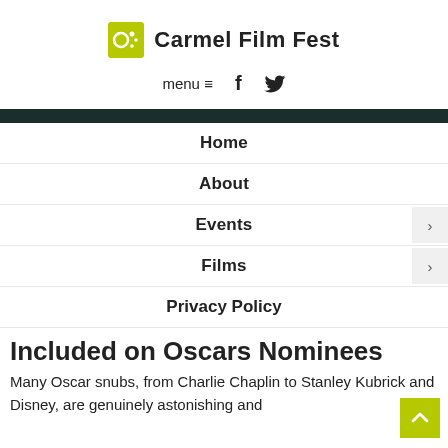Carmel Film Fest
menu ≡  f  🐦
Home
About
Events
Films
Privacy Policy
Included on Oscars Nominees
Many Oscar snubs, from Charlie Chaplin to Stanley Kubrick and Disney, are genuinely astonishing and